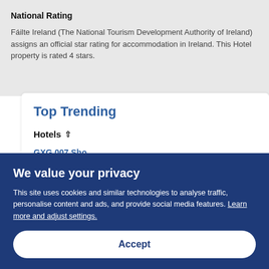National Rating
Fáilte Ireland (The National Tourism Development Authority of Ireland) assigns an official star rating for accommodation in Ireland. This Hotel property is rated 4 stars.
Top Trending
Hotels ⬆
GXG 007 Sho...
We value your privacy
This site uses cookies and similar technologies to analyse traffic, personalise content and ads, and provide social media features. Learn more and adjust settings.
Accept